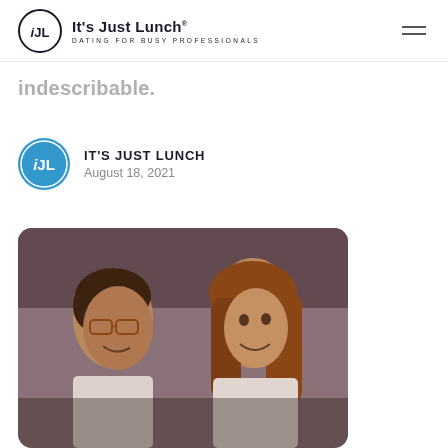It's Just Lunch — DATING FOR BUSY PROFESSIONALS
indescribable.
IT'S JUST LUNCH
August 18, 2021
[Figure (photo): A man with glasses and a woman with long hair smiling at each other at a restaurant table, shot in warm lighting.]